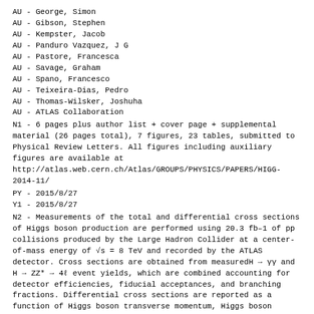AU - George, Simon
AU - Gibson, Stephen
AU - Kempster, Jacob
AU - Panduro Vazquez, J G
AU - Pastore, Francesca
AU - Savage, Graham
AU - Spano, Francesco
AU - Teixeira-Dias, Pedro
AU - Thomas-Wilsker, Joshuha
AU - ATLAS Collaboration
N1 - 6 pages plus author list + cover page + supplemental material (26 pages total), 7 figures, 23 tables, submitted to Physical Review Letters. All figures including auxiliary figures are available at http://atlas.web.cern.ch/Atlas/GROUPS/PHYSICS/PAPERS/HIGG-2014-11/
PY - 2015/8/27
Y1 - 2015/8/27
N2 - Measurements of the total and differential cross sections of Higgs boson production are performed using 20.3 fb-1 of pp collisions produced by the Large Hadron Collider at a center-of-mass energy of vs = 8 TeV and recorded by the ATLAS detector. Cross sections are obtained from measuredH → γγ and H → ZZ* → 4ℓ event yields, which are combined accounting for detector efficiencies, fiducial acceptances, and branching fractions. Differential cross sections are reported as a function of Higgs boson transverse momentum, Higgs boson rapidity, number of jets in the event, and transverse momentum of the leading jet. The total production cross section is determined to be σpp-H = 33.0 +- 5.3 (stat) +- 1.6 (syst) pb. The measurements are compared to state-of-the-art predictions.
AB - Measurements of the total and differential cross sections of Higgs boson production are performed using 20.3 fb-1 of pp collisions produced by the Large Hadron Collider at a center-